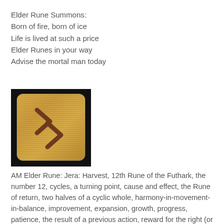Elder Rune Summons:
Born of fire, born of ice
Life is lived at such a price
Elder Runes in your way
Advise the mortal man today
[Figure (illustration): A wooden rune tile with a black background showing the Elder Futhark rune Jera — a rotational S-like symbol with two chevrons pointing right, in dark brown on a golden-tan wood-grain background with rounded corners.]
AM Elder Rune: Jera: Harvest, 12th Rune of the Futhark, the number 12, cycles, a turning point, cause and effect, the Rune of return, two halves of a cyclic whole, harmony-in-movement-in-balance, improvement, expansion, growth, progress, patience, the result of a previous action, reward for the right (or wrong) action.